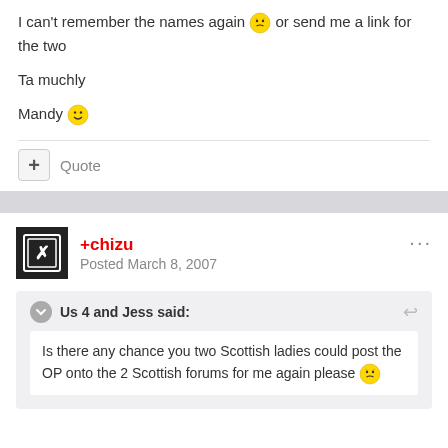Scottish forums for me again please [emoji] or send me a link for the two
Ta muchly
Mandy [emoji]
+ Quote
+chizu
Posted March 8, 2007
Us 4 and Jess said:
Is there any chance you two Scottish ladies could post the OP onto the 2 Scottish forums for me again please [emoji]